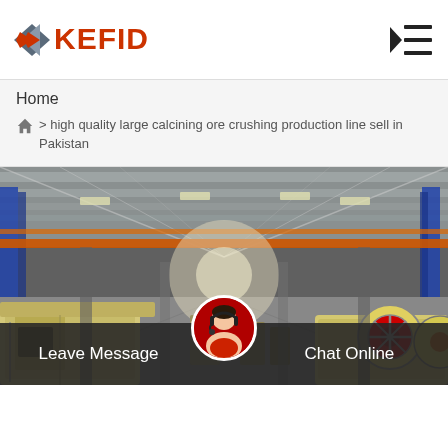KEFID
Home
> high quality large calcining ore crushing production line sell in Pakistan
[Figure (photo): Interior of a large industrial factory/warehouse showing crushing and milling equipment including impact crushers and jaw crushers in the foreground, with overhead crane rails, blue and orange structural beams, and a long production floor perspective.]
Leave Message
Chat Online